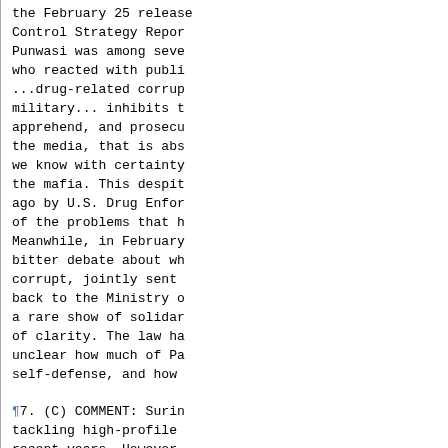the February 25 release of the International Narcotics Control Strategy Report... Punwasi was among several... who reacted with public... ...drug-related corruption... military... inhibits the ability... apprehend, and prosecute... the media, that is absolutely... we know with certainty... the mafia. This despite... ago by U.S. Drug Enforcement... of the problems that have... Meanwhile, in February... bitter debate about who... corrupt, jointly sent... back to the Ministry of... a rare show of solidarity... of clarity. The law had... unclear how much of Para... self-defense, and how m...
¶7. (C) COMMENT: Surina... tackling high-profile c... recent years. However,... accepted practice in Su... generation and a way of... inefficiencies, and wi... bloated state sector co... 50% of the formal workt... SCHREIBER HUGHES